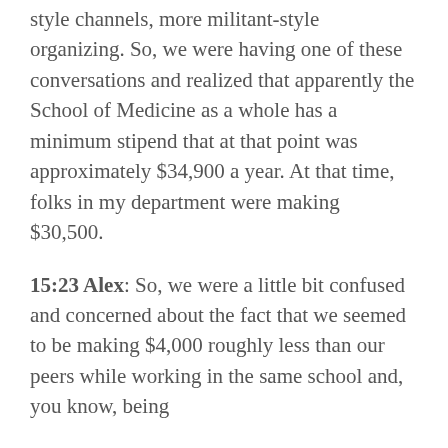style channels, more militant-style organizing. So, we were having one of these conversations and realized that apparently the School of Medicine as a whole has a minimum stipend that at that point was approximately $34,900 a year. At that time, folks in my department were making $30,500.
15:23 Alex: So, we were a little bit confused and concerned about the fact that we seemed to be making $4,000 roughly less than our peers while working in the same school and, you know, being